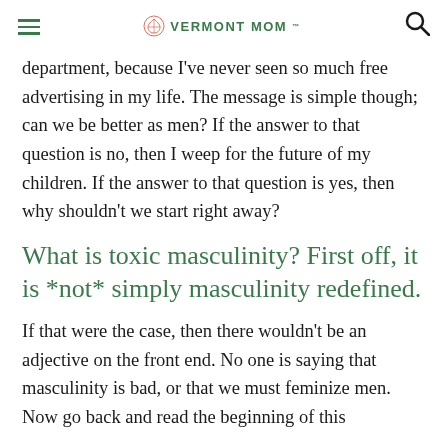VERMONT MOM
department, because I've never seen so much free advertising in my life. The message is simple though; can we be better as men? If the answer to that question is no, then I weep for the future of my children. If the answer to that question is yes, then why shouldn't we start right away?
What is toxic masculinity? First off, it is *not* simply masculinity redefined.
If that were the case, then there wouldn't be an adjective on the front end. No one is saying that masculinity is bad, or that we must feminize men. Now go back and read the beginning of this